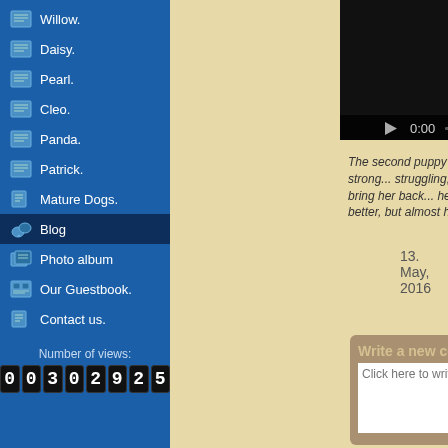Willow.
Daisy.
Pearl.
Cleo.
Panda.
Patrick.
Mature Dogs.
Blog
Photo album
Our Guestbook.
Contact us.
Number of views:
0 0 3 0 2 9 2 5
[Figure (screenshot): Embedded video player showing 0:00 time with dark preview image]
The second puppy is a little sable girl, 92g, but strong... struggling, but she is a fighter! I had to bring her back... her moving around okay... Doing better, but almost ha...
13. May, 2016
Write a new comment:
Click here to write your message